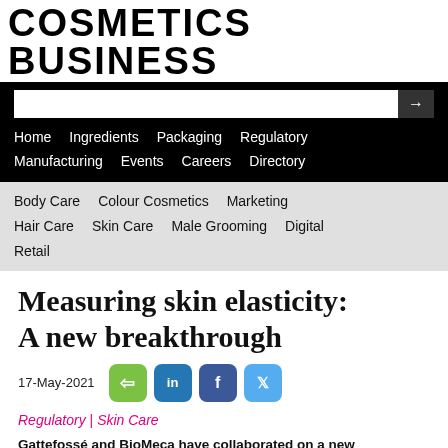COSMETICS BUSINESS
[Figure (screenshot): Navigation bar with search box and menu links: Home, Ingredients, Packaging, Regulatory, Manufacturing, Events, Careers, Directory]
Body Care  Colour Cosmetics  Marketing  Hair Care  Skin Care  Male Grooming  Digital  Retail
Measuring skin elasticity: A new breakthrough
17-May-2021
Regulatory | Skin Care
Gattefossé and BioMeca have collaborated on a new